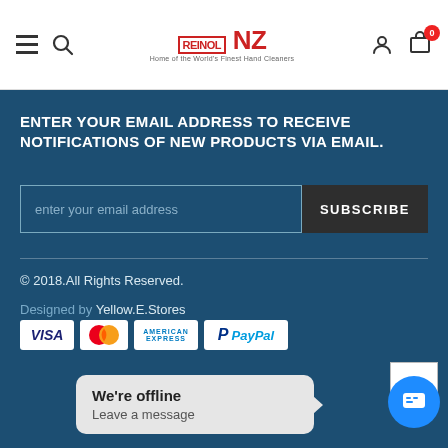[Figure (logo): Reinol NZ logo with tagline 'Home of the World's Finest Hand Cleaners']
ENTER YOUR EMAIL ADDRESS TO RECEIVE NOTIFICATIONS OF NEW PRODUCTS VIA EMAIL.
enter your email address
SUBSCRIBE
© 2018.All Rights Reserved.
Designed by Yellow.E.Stores
[Figure (other): Payment icons: Visa, MasterCard, American Express, PayPal]
We're offline
Leave a message